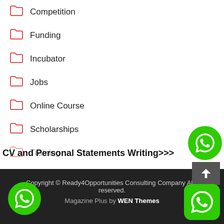Competition
Funding
Incubator
Jobs
Online Course
Scholarships
Training
or CV and Personal Statements Writing>>>
Webinars
Copyright © Ready4Opportunities Consulting Company All reserved.
Magazine Plus by WEN Themes